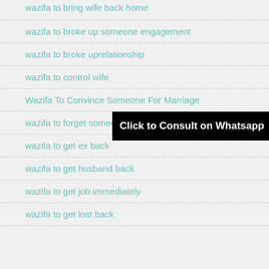wazifa to bring wife back home
wazifa to broke up someone engagement
wazifa to broke uprelationship
wazifa to control wife
Wazifa To Convince Someone For Marriage
wazifa to forget someone
wazifa to get ex back
wazifa to get husband back
wazifa to get job immediately
wazifa to get lost back